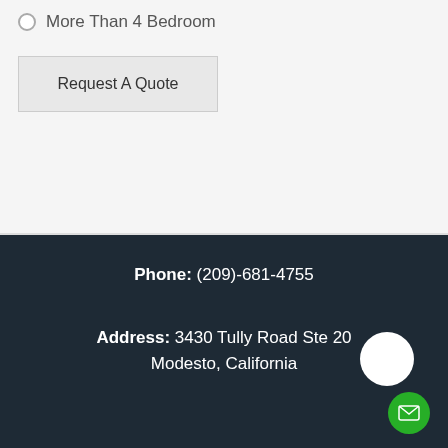More Than 4 Bedroom
Request A Quote
Phone: (209)-681-4755
Address: 3430 Tully Road Ste 20 Modesto, California